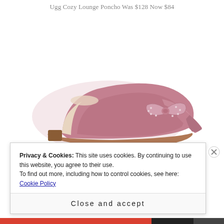Ugg Cozy Lounge Poncho Was $128 Now $84
[Figure (photo): A pink velvet pointed-toe flat shoe with a studded bow embellishment on the toe, displayed on a white background.]
Privacy & Cookies: This site uses cookies. By continuing to use this website, you agree to their use.
To find out more, including how to control cookies, see here: Cookie Policy
Close and accept